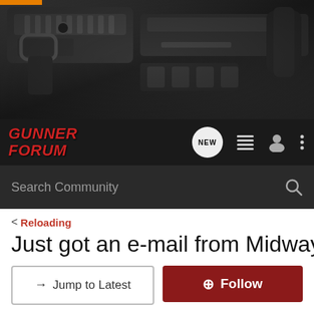[Figure (photo): Hero banner image showing firearms (handguns and rifle components) on dark background]
[Figure (logo): Gunner Forum logo in red italic bold text on dark navbar, with NEW chat bubble icon, list icon, user icon, and more options icon]
Search Community
< Reloading
Just got an e-mail from MidwayUSA
→ Jump to Latest
+ Follow
1 - 5 of 5 Posts
Montanan · Registered
Joined May 14, 2008 · 3,201 Posts